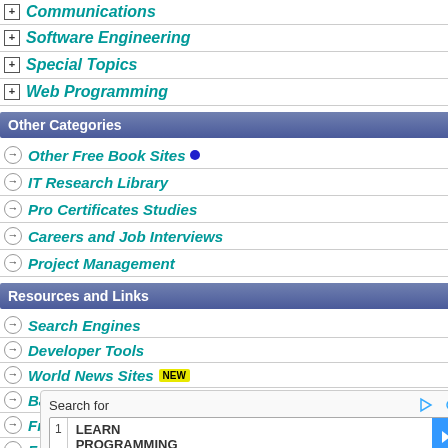Communications
Software Engineering
Special Topics
Web Programming
Other Categories
Other Free Book Sites
IT Research Library
Pro Certificates Studies
Careers and Job Interviews
Project Management
Resources and Links
Search Engines
Developer Tools
World News Sites NEW
Bargin Computer Books
Free IT Magazines
FAQ
About This Site
Search for LEARN PROGRAMMING
Book Description
Learn how to solve day-to-day problems with the OCaml multi-paradigm programming imperative, and object-oriented program...